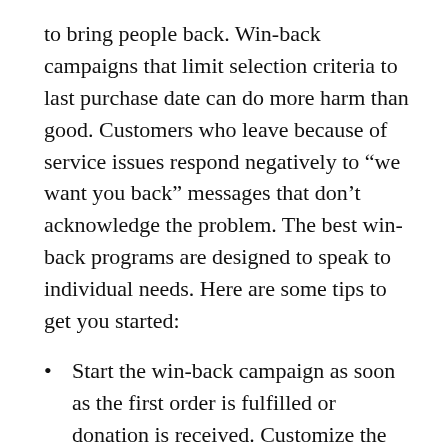to bring people back. Win-back campaigns that limit selection criteria to last purchase date can do more harm than good. Customers who leave because of service issues respond negatively to “we want you back” messages that don’t acknowledge the problem. The best win-back programs are designed to speak to individual needs. Here are some tips to get you started:
Start the win-back campaign as soon as the first order is fulfilled or donation is received. Customize the marketing message to include follow-up information from the first transaction. A soft win-back approach keeps people from leaving.
Separate people who have had issues from